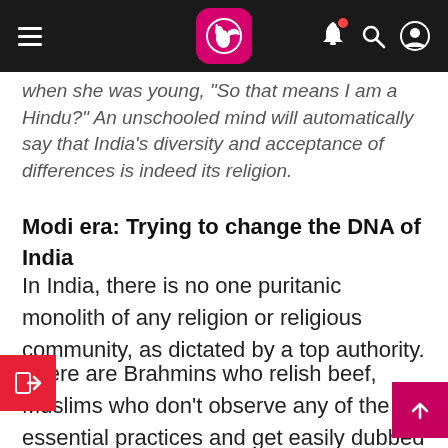Navigation bar with hamburger menu, Qantas-style logo, bell notification, search, and user icons
when she was young, "So that means I am a Hindu?" An unschooled mind will automatically say that India's diversity and acceptance of differences is indeed its religion.
Modi era: Trying to change the DNA of India
In India, there is no one puritanic monolith of any religion or religious community, as dictated by a top authority.
There are Brahmins who relish beef, Muslims who don't observe any of the essential practices and get easily dubbed kafirs by the believers, and Christians who visit the cinema on Good Fridays. The Indian Constitution guarantees the freedom to believe as